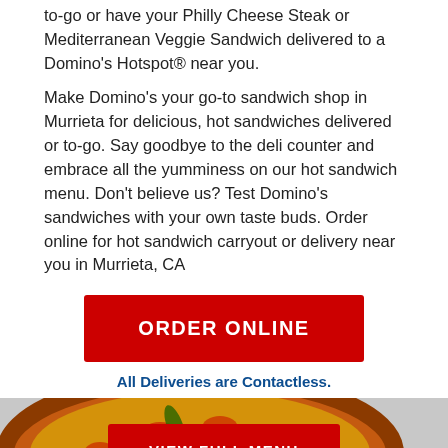to-go or have your Philly Cheese Steak or Mediterranean Veggie Sandwich delivered to a Domino's Hotspot® near you.
Make Domino's your go-to sandwich shop in Murrieta for delicious, hot sandwiches delivered or to-go. Say goodbye to the deli counter and embrace all the yumminess on our hot sandwich menu. Don't believe us? Test Domino's sandwiches with your own taste buds. Order online for hot sandwich carryout or delivery near you in Murrieta, CA
ORDER ONLINE
All Deliveries are Contactless.
[Figure (photo): Photo of Domino's food including pizza, sandwich, and chicken wings on a table]
VIEW FULL MENU